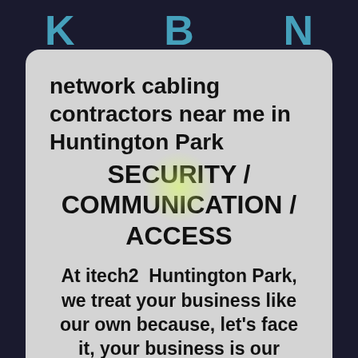[Figure (photo): Dark keyboard keys background with letters K, B, N visible in blue/teal color]
network cabling contractors near me in Huntington Park
SECURITY / COMMUNICATION / ACCESS
At itech2  Huntington Park, we treat your business like our own because, let's face it, your business is our business.  We built our brand